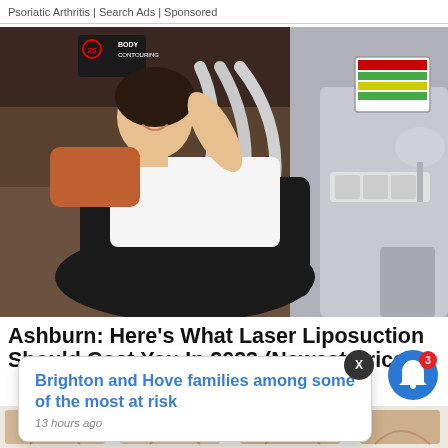Psoriatic Arthritis | Search Ads | Sponsored
[Figure (photo): Photo of a woman lying back smiling during a body contouring laser liposuction treatment, with medical device arms attached to her midsection, machine with screen on the right side, timer display showing '25 Body Contouring' in upper left of image]
Ashburn: Here's What Laser Liposuction Should Cost You In 2023 (Newest Price)
Brighton and Hove families among some of the most at risk
13 hours ago
[Figure (illustration): Bottom strip showing partial body contouring before/after illustration thumbnails]
X
[Figure (other): Blue notification bell icon with red badge showing number 3]